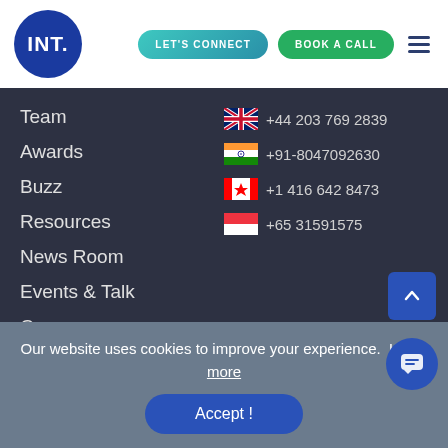[Figure (logo): INT. logo in white text on dark blue circle]
LET'S CONNECT
BOOK A CALL
Team
Awards
Buzz
Resources
News Room
Events & Talk
Career
+44 203 769 2839
+91-8047092630
+1 416 642 8473
+65 31591575
Our website uses cookies to improve your experience.  Learn more
Accept !